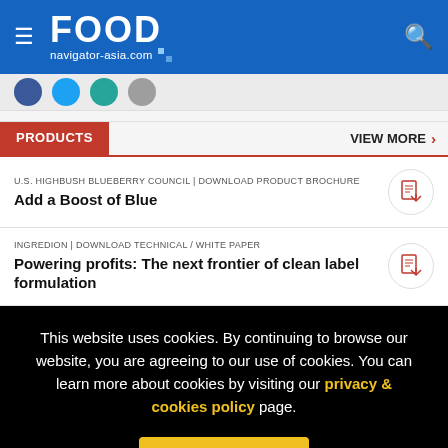FOOD navigator-asia.com
[Figure (screenshot): Social media icon circles row: dark blue, light blue, teal, gray]
PRODUCTS
VIEW MORE >
U.S. HIGHBUSH BLUEBERRY COUNCIL | DOWNLOAD PRODUCT BROCHURE
Add a Boost of Blue
INGREDION | DOWNLOAD TECHNICAL / WHITE PAPER
Powering profits: The next frontier of clean label formulation
This website uses cookies. By continuing to browse our website, you are agreeing to our use of cookies. You can learn more about cookies by visiting our privacy & cookies policy page.
I Agree